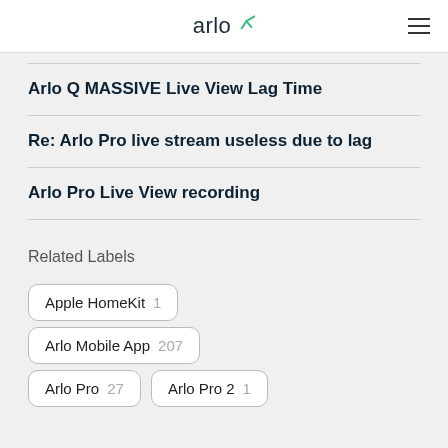arlo
Arlo Q MASSIVE Live View Lag Time
Re: Arlo Pro live stream useless due to lag
Arlo Pro Live View recording
Related Labels
Apple HomeKit  1
Arlo Mobile App  207
Arlo Pro  27
Arlo Pro 2  1